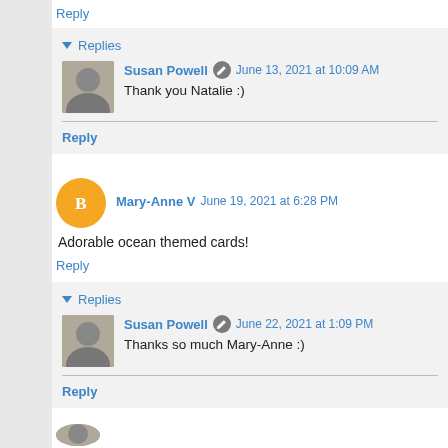Reply
▼ Replies
Susan Powell  June 13, 2021 at 10:09 AM
Thank you Natalie :)
Reply
Mary-Anne V  June 19, 2021 at 6:28 PM
Adorable ocean themed cards!
Reply
▼ Replies
Susan Powell  June 22, 2021 at 1:09 PM
Thanks so much Mary-Anne :)
Reply